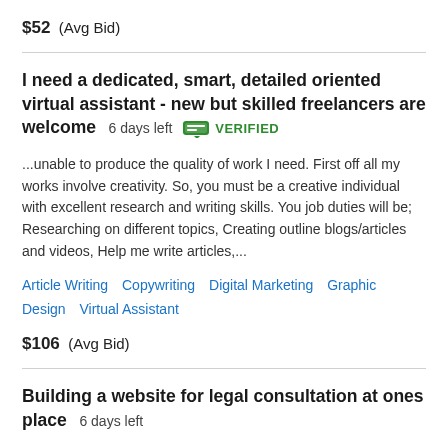$52  (Avg Bid)
I need a dedicated, smart, detailed oriented virtual assistant - new but skilled freelancers are welcome  6 days left  VERIFIED
...unable to produce the quality of work I need. First off all my works involve creativity. So, you must be a creative individual with excellent research and writing skills. You job duties will be; Researching on different topics, Creating outline blogs/articles and videos, Help me write articles,...
Article Writing   Copywriting   Digital Marketing   Graphic Design   Virtual Assistant
$106  (Avg Bid)
Building a website for legal consultation at ones place  6 days left